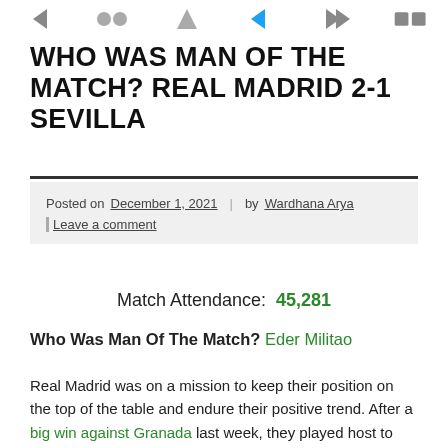[Navigation icons row]
WHO WAS MAN OF THE MATCH? REAL MADRID 2-1 SEVILLA
Posted on December 1, 2021 | by Wardhana Arya | Leave a comment
Match Attendance: 45,281
Who Was Man Of The Match? Eder Militao
Real Madrid was on a mission to keep their position on the top of the table and endure their positive trend. After a big win against Granada last week, they played host to Sevilla, one of their contenders in the top four. Carlo Ancelotti eventually opted for Marco Asencio to accompany Vinicius Junior and Karim Benzema instead